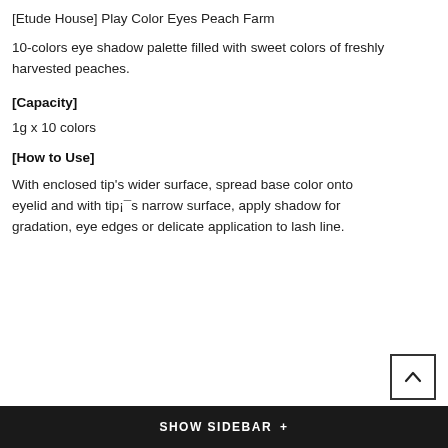[Etude House] Play Color Eyes Peach Farm
10-colors eye shadow palette filled with sweet colors of freshly harvested peaches.
[Capacity]
1g x 10 colors
[How to Use]
With enclosed tip's wider surface, spread base color onto eyelid and with tip¡¯s narrow surface, apply shadow for gradation, eye edges or delicate application to lash line.
SHOW SIDEBAR +